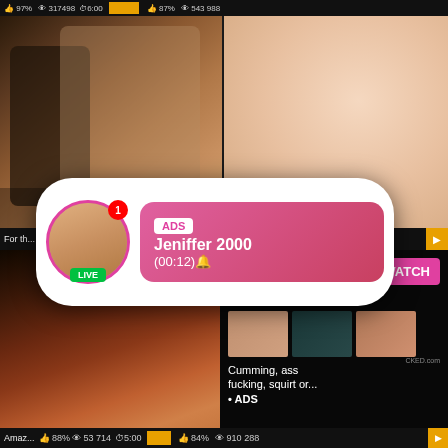97% • 317498 • 6:00 | 87% • 543 988
[Figure (screenshot): Video thumbnail showing two people in a room]
[Figure (screenshot): Video thumbnail showing female torso, watermark facebeeg.com]
[Figure (screenshot): Ad overlay with live avatar, ADS badge, Jeniffer 2000, (00:12) text, LIVE badge]
For th... 82%
[Figure (screenshot): Video thumbnail bottom left]
[Figure (infographic): WHAT DO YOU WANT? ad with WATCH button, Online indicator, three thumbnails, text: Cumming, ass fucking, squirt or... • ADS]
Amaz... 88% • 53 714 • 5:00 | 84% • 910 288